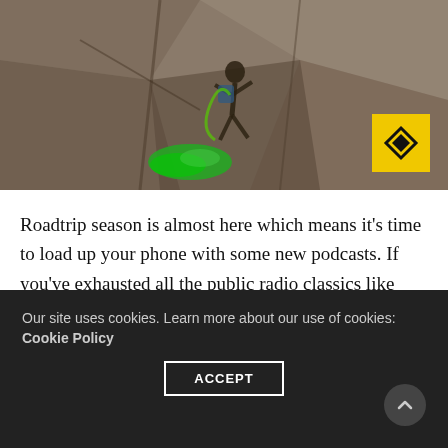[Figure (photo): A rock climber navigating a narrow rocky canyon with a green rope visible at the bottom. A yellow badge with a diamond/arrow icon is overlaid in the bottom right corner of the image.]
Roadtrip season is almost here which means it's time to load up your phone with some new podcasts. If you've exhausted all the public radio classics like This American Life, Fresh Air, Invisibilia, and Serial, I have some outdoor-related podcasts to add to your repertoire.
Our site uses cookies. Learn more about our use of cookies: Cookie Policy
ACCEPT